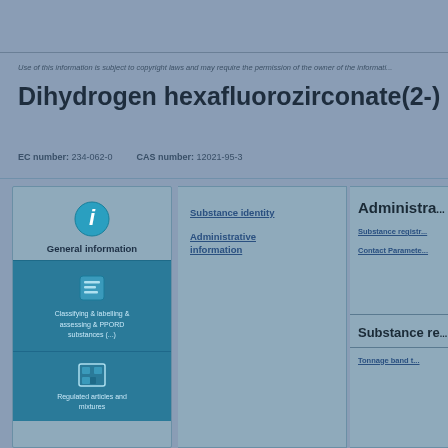Use of this information is subject to copyright laws and may require the permission of the owner of the information, as described in the ECHA Legal Notice.
Dihydrogen hexafluorozirconate(2-)
EC number: 234-062-0   CAS number: 12021-95-3
General information
Substance identity
Administrative information
Administra...
Substance registration
Contact Parameters
Substance r...
Tonnage band t...